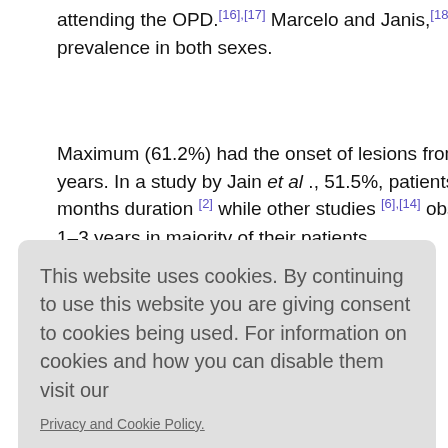attending the OPD.[16],[17] Marcelo and Janis,[18] reported equal prevalence in both sexes.
Maximum (61.2%) had the onset of lesions from past 6 months to 2 years. In a study by Jain et al ., 51.5%, patients had XP of < 12 months duration [2] while other studies [6],[14] observed duration of 1–3 years in majority of their patients.
This website uses cookies. By continuing to use this website you are giving consent to cookies being used. For information on cookies and how you can disable them visit our
Privacy and Cookie Policy.
AGREE & PROCEED
tive or more eyelids involvement in the majority of their patients while in study by